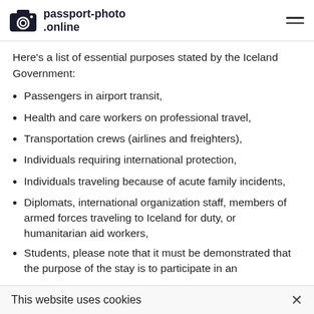passport-photo.online
Here’s a list of essential purposes stated by the Iceland Government:
Passengers in airport transit,
Health and care workers on professional travel,
Transportation crews (airlines and freighters),
Individuals requiring international protection,
Individuals traveling because of acute family incidents,
Diplomats, international organization staff, members of armed forces traveling to Iceland for duty, or humanitarian aid workers,
Students, please note that it must be demonstrated that the purpose of the stay is to participate in an
This website uses cookies